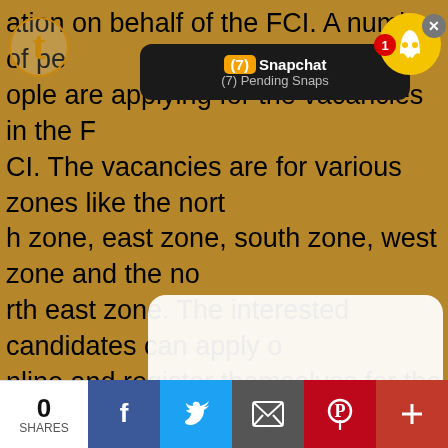ation on behalf of the FCI. A number of people are applying for the vacancies in the FCI. The vacancies are for various zones like the north zone, east zone, south zone, west zone and the north east zone. The interested candidates can apply online and register themselves for the written examination. The candidates can apply offline as well. The examination consists of a written test which is followed by a Computer Proficiency Test. For typists, a skill test is conducted. However these tests are only qualifying in nature. Placements are provided on the basis of the performance in the exam.BHEL (Bharat Heavy Electricals limited) is a premier engineering organization of India and is involved in power generation, transmission, telecommunication, industry
[Figure (screenshot): Snapchat notification bar showing (7) Snapchat and (7) Pending Snaps, with Snapchat ghost icon and red badge showing 1, and Tumblr icon on left]
[Figure (screenshot): Modal dialog overlay with text 'Click OK To Continue' and blue OK button]
[Figure (screenshot): Social share bar at bottom: 0 SHARES, Facebook, Twitter, Email, Pinterest, Plus buttons]